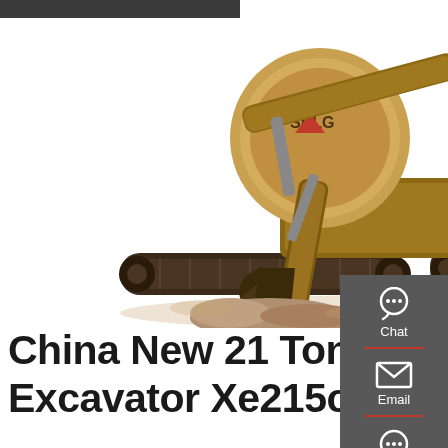[Figure (photo): A large yellow and brown hydraulic crawler excavator (SDLG brand) digging into rocky ground on a construction/mining site, photographed against a white background. The machine is shown in profile with its boom extended and bucket engaged in the ground.]
China New 21 Ton Hydraulic Crawler Excavator Xe215c With
[Figure (infographic): Right-side vertical sidebar with dark grey background showing three contact options: Chat (headset icon), Email (envelope icon), Contact (speech bubble icon), separated by red horizontal dividers.]